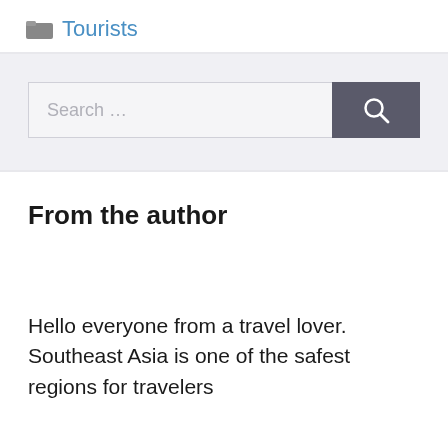Tourists
[Figure (screenshot): Search bar with text input field showing placeholder 'Search ...' and a dark search button with magnifying glass icon]
From the author
Hello everyone from a travel lover. Southeast Asia is one of the safest regions for travelers